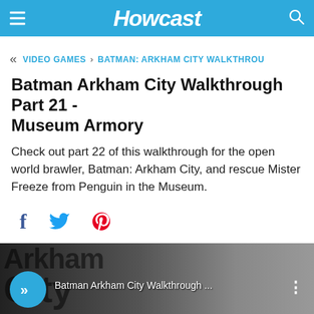Howcast
VIDEO GAMES › BATMAN: ARKHAM CITY WALKTHROU
Batman Arkham City Walkthrough Part 21 - Museum Armory
Check out part 22 of this walkthrough for the open world brawler, Batman: Arkham City, and rescue Mister Freeze from Penguin in the Museum.
[Figure (screenshot): Social share icons: Facebook (f), Twitter bird, Pinterest (P)]
[Figure (screenshot): Video thumbnail showing Batman Arkham City artwork with 'No Commentary' text in red, a blue play button with double chevron, and video title 'Batman Arkham City Walkthrough...']